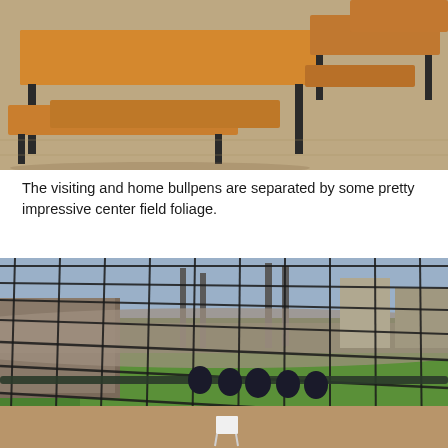[Figure (photo): Photo of wooden picnic-style benches and tables arranged on a concrete floor, viewed from a low angle. The benches have orange-brown wooden tops and black metal frames.]
The visiting and home bullpens are separated by some pretty impressive center field foliage.
[Figure (photo): Photo taken through a dark wire fence/netting at a baseball stadium bullpen. Several players in dark uniforms sit along a railing in the foreground. Behind them is the green playing field, stadium seating filled with spectators, and city buildings and steel structures in the background. A white folding chair sits on the dirt in the near foreground.]